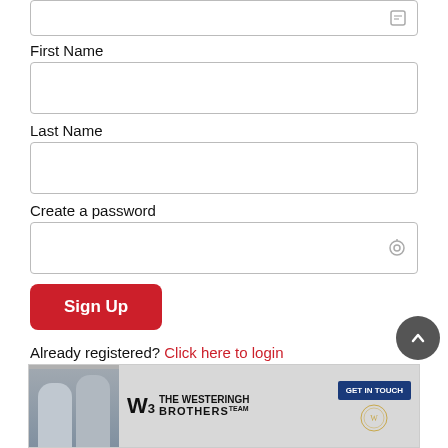[Figure (screenshot): Partial input field at top with a small icon on the right]
First Name
[Figure (screenshot): Empty text input box for First Name]
Last Name
[Figure (screenshot): Empty text input box for Last Name]
Create a password
[Figure (screenshot): Empty password input box with eye/lock icon on right]
[Figure (screenshot): Red Sign Up button]
Already registered? Click here to login
[Figure (screenshot): Dark gray scroll-to-top circular button with up chevron]
[Figure (screenshot): Advertisement banner for The Westeringh Brothers with GET IN TOUCH button]